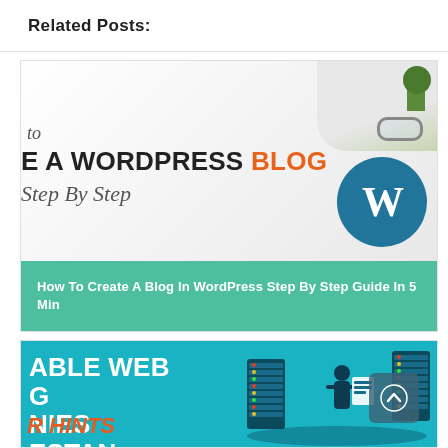Related Posts:
[Figure (photo): WordPress blog tutorial image with text overlay: 'to', 'E A WORDPRESS BLOG' (BLOG in orange), 'Step By Step' in italic, with WordPress logo circle and desk/plant background]
How To Create A Blog In WordPress Step By Step Guide In 5 Min
[Figure (photo): Web hosting companies banner with teal background, white bold text: 'ABLE WEB', 'G', 'NIES', 'ESTAN', orange italic text 'R HINTS', server rack 3D illustration, person with document]